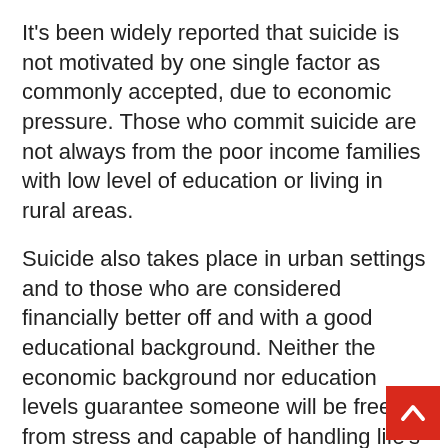It's been widely reported that suicide is not motivated by one single factor as commonly accepted, due to economic pressure. Those who commit suicide are not always from the poor income families with low level of education or living in rural areas.
Suicide also takes place in urban settings and to those who are considered financially better off and with a good educational background. Neither the economic background nor education levels guarantee someone will be free from stress and capable of handling life's problems rationally.
Although economic factors could be singled out as a prime motive for suicide, as mentioned above, child/teenager suicide forces us to look beyond these factors. Children are forced to face a complex reality beyond their emotion control and capacity to